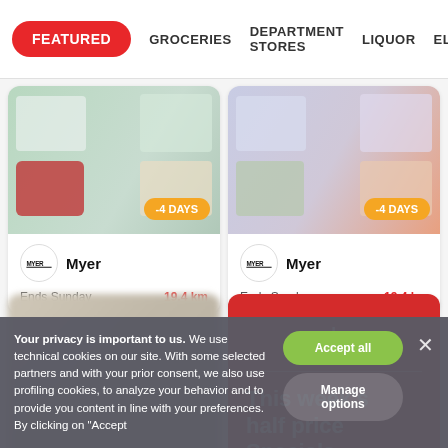FEATURED | GROCERIES | DEPARTMENT STORES | LIQUOR | ELECT
[Figure (screenshot): Myer catalogue card with product images (toaster, cookware), -4 DAYS badge, Myer logo, Ends Sunday, 19.4 km]
Myer
Ends Sunday
19.4 km
[Figure (screenshot): Myer catalogue card with home products, -4 DAYS badge, Myer logo, Ends Sunday, 19.4 km]
Myer
Ends Sunday
19.4 km
[Figure (photo): Blurred/obscured card]
[Figure (screenshot): Coles card with red background showing 'coles' logo and 'This week's half price Specials' text]
Your privacy is important to us. We use technical cookies on our site. With some selected partners and with your prior consent, we also use profiling cookies, to analyze your behavior and to provide you content in line with your preferences. By clicking on "Accept
Accept all
Manage options